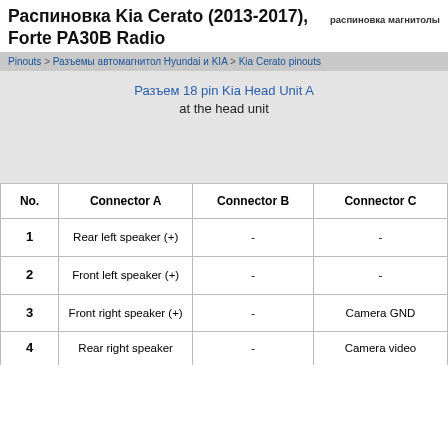Распиновка Kia Cerato (2013-2017), Forte PA30B Radio
распиновка магнитолы
Pinouts > Разъемы автомагнитол Hyundai и KIA > Kia Cerato pinouts
Разъем 18 pin Kia Head Unit A
at the head unit
| No. | Connector A | Connector B | Connector C |
| --- | --- | --- | --- |
| 1 | Rear left speaker (+) | - | - |
| 2 | Front left speaker (+) | - | - |
| 3 | Front right speaker (+) | - | Camera GND |
| 4 | Rear right speaker | - | Camera video |